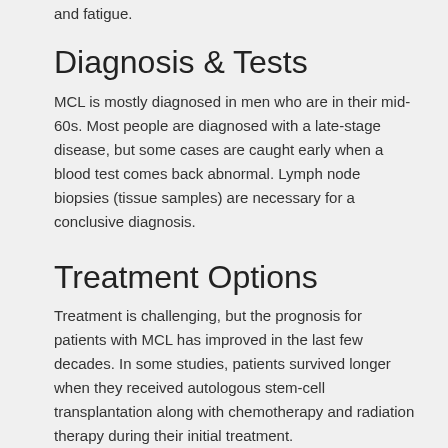and fatigue.
Diagnosis & Tests
MCL is mostly diagnosed in men who are in their mid-60s. Most people are diagnosed with a late-stage disease, but some cases are caught early when a blood test comes back abnormal. Lymph node biopsies (tissue samples) are necessary for a conclusive diagnosis.
Treatment Options
Treatment is challenging, but the prognosis for patients with MCL has improved in the last few decades. In some studies, patients survived longer when they received autologous stem-cell transplantation along with chemotherapy and radiation therapy during their initial treatment.